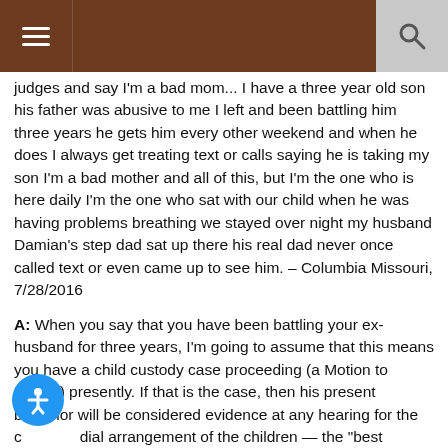Navigation header with menu and search icons
judges and say I'm a bad mom... I have a three year old son his father was abusive to me I left and been battling him three years he gets him every other weekend and when he does I always get treating text or calls saying he is taking my son I'm a bad mother and all of this, but I'm the one who is here daily I'm the one who sat with our child when he was having problems breathing we stayed over night my husband Damian's step dad sat up there his real dad never once called text or even came up to see him. – Columbia Missouri, 7/28/2016
A: When you say that you have been battling your ex-husband for three years, I'm going to assume that this means you have a child custody case proceeding (a Motion to Modify) presently. If that is the case, then his present behavior will be considered evidence at any hearing for the custodial arrangement of the children — the "best interests of the child" are certainly affected by such parenting behaviors.